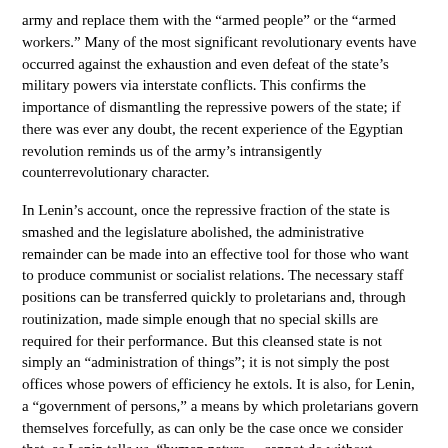army and replace them with the “armed people” or the “armed workers.” Many of the most significant revolutionary events have occurred against the exhaustion and even defeat of the state’s military powers via interstate conflicts. This confirms the importance of dismantling the repressive powers of the state; if there was ever any doubt, the recent experience of the Egyptian revolution reminds us of the army’s intransigently counterrevolutionary character.
In Lenin’s account, once the repressive fraction of the state is smashed and the legislature abolished, the administrative remainder can be made into an effective tool for those who want to produce communist or socialist relations. The necessary staff positions can be transferred quickly to proletarians and, through routinization, made simple enough that no special skills are required for their performance. But this cleansed state is not simply an “administration of things”; it is not simply the post offices whose powers of efficiency he extols. It is also, for Lenin, a “government of persons,” a means by which proletarians govern themselves forcefully, as can only be the case once we consider that, as Lenin tells us, “human nature… cannot do without subordination, control, and ‘managers.’” What matters, for Lenin, is who rules: “if there is to subordination, it must be to the armed vanguard of all exploited and laboring – to the proletariat.”4